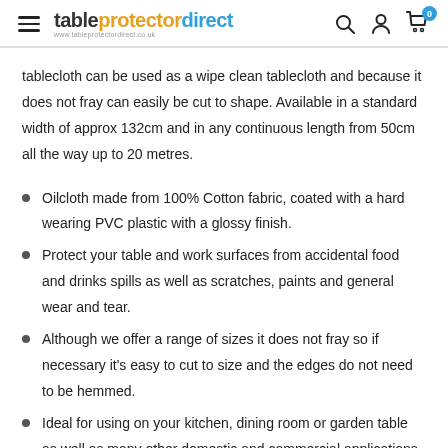tableprotectordirect www.tableprotectordirect.co.uk
tablecloth can be used as a wipe clean tablecloth and because it does not fray can easily be cut to shape. Available in a standard width of approx 132cm and in any continuous length from 50cm all the way up to 20 metres.
Oilcloth made from 100% Cotton fabric, coated with a hard wearing PVC plastic with a glossy finish.
Protect your table and work surfaces from accidental food and drinks spills as well as scratches, paints and general wear and tear.
Although we offer a range of sizes it does not fray so if necessary it's easy to cut to size and the edges do not need to be hemmed.
Ideal for using on your kitchen, dining room or garden table as well as many other domestic and commercial applications including